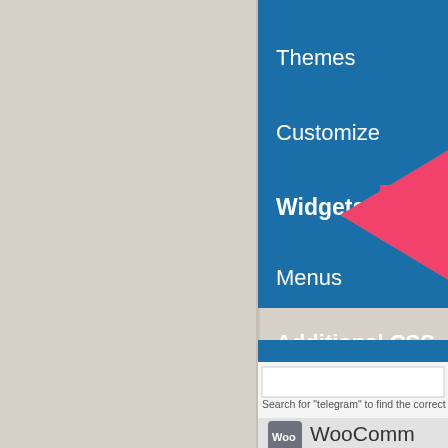[Figure (screenshot): WordPress admin sidebar screenshot showing Appearance menu expanded with items: Themes, Customize, Widgets (bold, with large pink arrow pointing to it), Menus, Additional CSS. Below is a search box area with text 'Search for telegram to find the correct icon', a WooCommerce plugin entry, and an Appearance section at the bottom.]